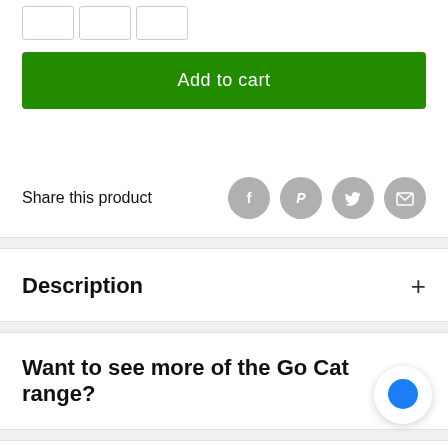[Figure (other): Three quantity selector input boxes at the top of the page]
Add to cart
Share this product
[Figure (other): Four social share icon circles: Facebook, Pinterest, Twitter, Email]
Description +
Want to see more of the Go Cat range? +
[Figure (other): Blue chat bubble icon button in bottom right corner]